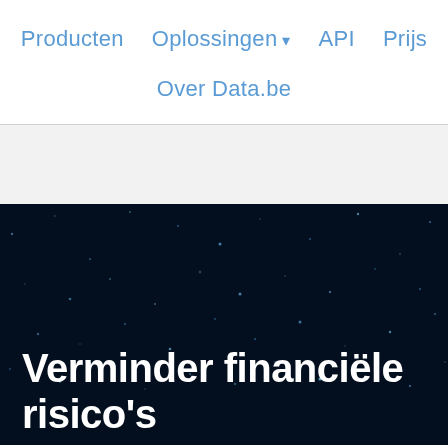Producten   Oplossingen ▾   API   Prijs
Over Data.be
[Figure (screenshot): Dark navy background with scattered light blue/white star-like dots suggesting a night sky or data network visualization]
Verminder financiële risico's